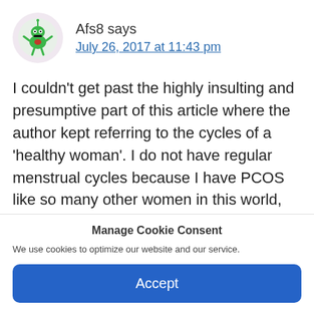Afs8 says
July 26, 2017 at 11:43 pm
I couldn't get past the highly insulting and presumptive part of this article where the author kept referring to the cycles of a 'healthy woman'. I do not have regular menstrual cycles because I have PCOS like so many other women in this world, but I don't consider myself 'unhealthy' because of that. I
Manage Cookie Consent
We use cookies to optimize our website and our service.
Accept